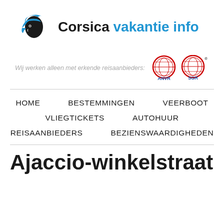[Figure (logo): Corsica vakantie info logo with Moor's head in black and blue headband, followed by site name text]
Wij werken alleen met erkende reisaanbieders: [ANVR logo] [SGR logo]
HOME
BESTEMMINGEN
VEERBOOT
VLIEGTICKETS
AUTOHUUR
REISAANBIEDERS
BEZIENSWAARDIGHEDEN
Ajaccio-winkelstraat